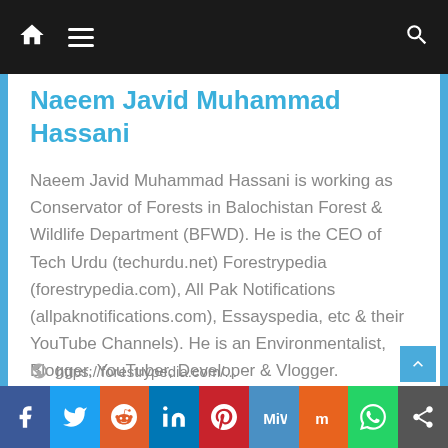Navigation bar with home, menu, and search icons
Naeem Javid Muhammad Hassani
Naeem Javid Muhammad Hassani is working as Conservator of Forests in Balochistan Forest & Wildlife Department (BFWD). He is the CEO of Tech Urdu (techurdu.net) Forestrypedia (forestrypedia.com), All Pak Notifications (allpaknotifications.com), Essayspedia, etc & their YouTube Channels). He is an Environmentalist, Blogger, YouTuber, Developer & Vlogger.
Social share buttons: Facebook, Twitter, Reddit, LinkedIn, Pinterest, MeWe, Mix, WhatsApp, Share